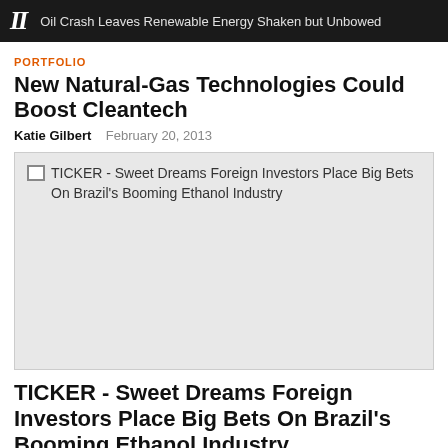II  Oil Crash Leaves Renewable Energy Shaken but Unbowed
PORTFOLIO
New Natural-Gas Technologies Could Boost Cleantech
Katie Gilbert    February 20, 2013
[Figure (photo): Broken image placeholder with alt text: TICKER - Sweet Dreams Foreign Investors Place Big Bets On Brazil's Booming Ethanol Industry]
TICKER - Sweet Dreams Foreign Investors Place Big Bets On Brazil's Booming Ethanol Industry
Lucy Conger    August 14, 2007